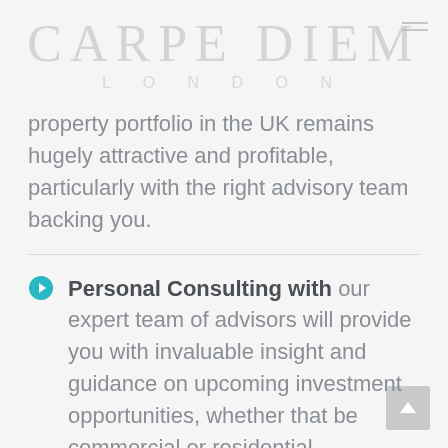CARPE DIEM LONDON
property portfolio in the UK remains hugely attractive and profitable, particularly with the right advisory team backing you.
Personal Consulting with our expert team of advisors will provide you with invaluable insight and guidance on upcoming investment opportunities, whether that be commercial or residential.
Trusted Advisors, Carpe Diem London advises many private client members